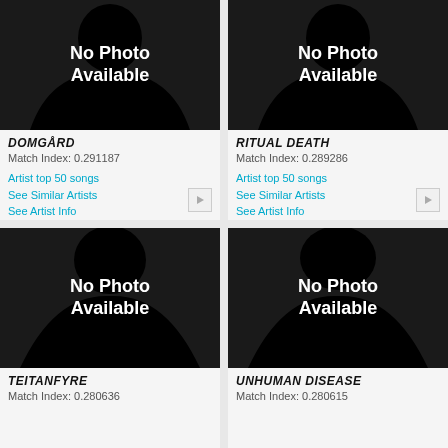[Figure (illustration): No Photo Available silhouette placeholder image for artist DOMGÅRD]
DOMGÅRD
Match Index: 0.291187
Artist top 50 songs
See Similar Artists
See Artist Info
[Figure (illustration): No Photo Available silhouette placeholder image for artist RITUAL DEATH]
RITUAL DEATH
Match Index: 0.289286
Artist top 50 songs
See Similar Artists
See Artist Info
[Figure (illustration): No Photo Available silhouette placeholder image for artist TEITANFYRE]
TEITANFYRE
Match Index: 0.280636
[Figure (illustration): No Photo Available silhouette placeholder image for artist UNHUMAN DISEASE]
UNHUMAN DISEASE
Match Index: 0.280615